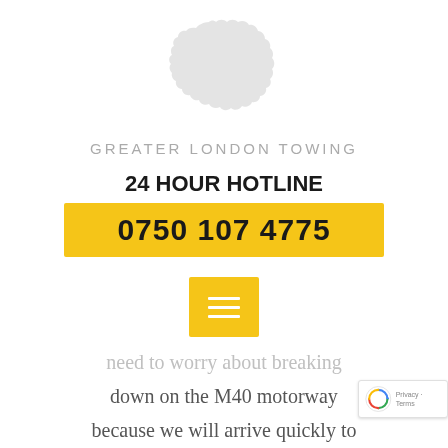[Figure (logo): Greater London Towing logo with a light grey silhouette map of Greater London above the text 'GREATER LONDON TOWING' in spaced grey capital letters]
24 HOUR HOTLINE
0750 107 4775
[Figure (other): Yellow square menu/hamburger button icon with three horizontal white lines]
need to worry about breaking down on the M40 motorway because we will arrive quickly to provide the roadside assistance you need. We will take good care of...